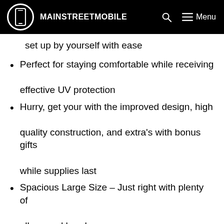MAINSTREETMOBILE
set up by yourself with ease
Perfect for staying comfortable while receiving effective UV protection
Hurry, get your with the improved design, high quality construction, and extra's with bonus gifts while supplies last
Spacious Large Size – Just right with plenty of elbow and head room
Great for camping at the lake, the beach, or even traveling across country, while avoiding dirty or closed restrooms for better health and